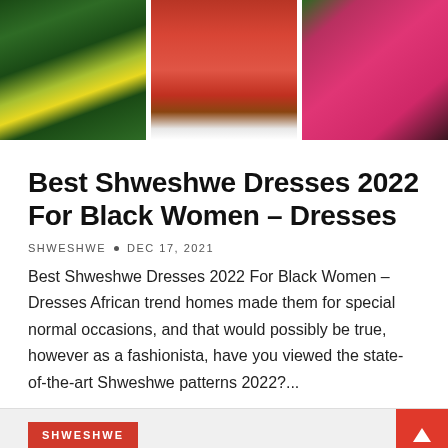[Figure (photo): Three fashion photos side by side: left shows person with yellow handbag on green grass, center shows person in red midi dress with white sneakers, right shows person in red/pink outfit]
Best Shweshwe Dresses 2022 For Black Women – Dresses
SHWESHWE • DEC 17, 2021
Best Shweshwe Dresses 2022 For Black Women – Dresses African trend homes made them for special normal occasions, and that would possibly be true, however as a fashionista, have you viewed the state-of-the-art Shweshwe patterns 2022?...
SHWESHWE